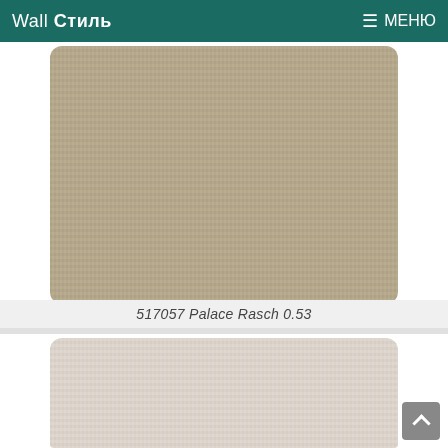Wall Стиль  ☰ МЕНЮ
[Figure (photo): Tan/beige fabric texture wallpaper swatch, rounded corners]
517057 Palace Rasch 0.53
[Figure (photo): Light pinkish-beige fabric texture wallpaper swatch, rounded corners, partially visible]